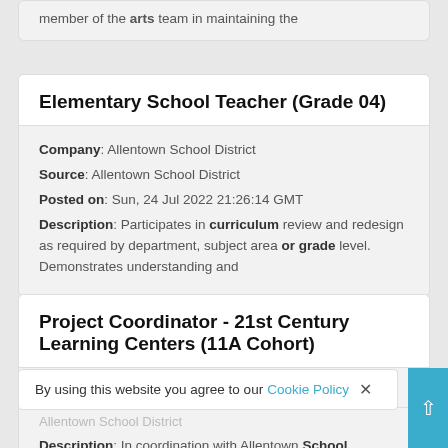member of the arts team in maintaining the
Elementary School Teacher (Grade 04)
Company: Allentown School District
Source: Allentown School District
Posted on: Sun, 24 Jul 2022 21:26:14 GMT
Description: Participates in curriculum review and redesign as required by department, subject area or grade level. Demonstrates understanding and
Project Coordinator - 21st Century Learning Centers (11A Cohort)
Company: Allentown School District
Description: In coordination with Allentown School
By using this website you agree to our Cookie Policy ×